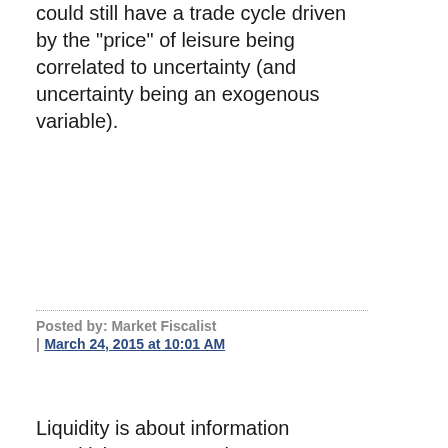could still have a trade cycle driven by the "price" of leisure being correlated to uncertainty (and uncertainty being an exogenous variable).
Posted by: Market Fiscalist | March 24, 2015 at 10:01 AM
Liquidity is about information sensitivity, not recession vs no recession. In an illiquid market, if I see a seller, I assume that he knows something I don't, so I demand a steep discount to reflect my lack of information. If I see a buyer, who bids, I